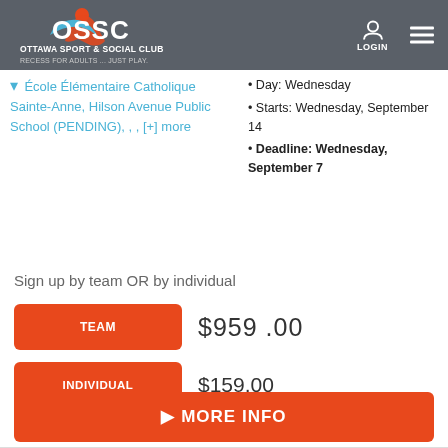OSSC Ottawa Sport & Social Club — RECESS FOR ADULTS ... JUST PLAY. | LOGIN
École Élémentaire Catholique Sainte-Anne, Hilson Avenue Public School (PENDING), , , [+] more
Day: Wednesday
Starts: Wednesday, September 14
Deadline: Wednesday, September 7
Sign up by team OR by individual
TEAM  $959.00
INDIVIDUAL  $159.00
MORE INFO